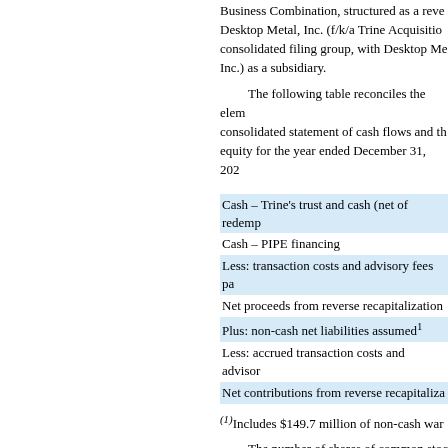Business Combination, structured as a reverse merger. Desktop Metal, Inc. (f/k/a Trine Acquisition consolidated filing group, with Desktop Me Inc.) as a subsidiary.
The following table reconciles the elements of the consolidated statement of cash flows and the statement of equity for the year ended December 31, 202
| Cash – Trine's trust and cash (net of redemp |
| Cash – PIPE financing |
| Less: transaction costs and advisory fees pa |
| Net proceeds from reverse recapitalization |
| Plus: non-cash net liabilities assumed¹ |
| Less: accrued transaction costs and advisor |
| Net contributions from reverse recapitaliza |
(1)Includes $149.7 million of non-cash war
The number of shares of common stock issued upon consummation of the Business Combination
| Common stock, outstanding prior to Business |